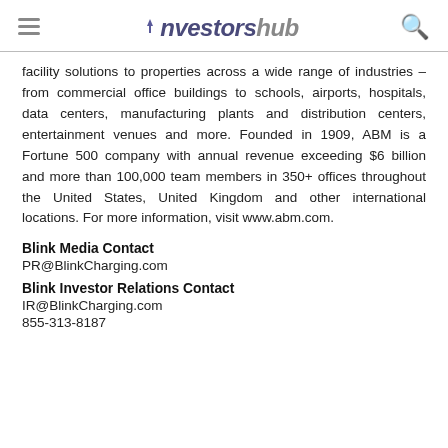investorshub
facility solutions to properties across a wide range of industries – from commercial office buildings to schools, airports, hospitals, data centers, manufacturing plants and distribution centers, entertainment venues and more. Founded in 1909, ABM is a Fortune 500 company with annual revenue exceeding $6 billion and more than 100,000 team members in 350+ offices throughout the United States, United Kingdom and other international locations. For more information, visit www.abm.com.
Blink Media Contact
PR@BlinkCharging.com
Blink Investor Relations Contact
IR@BlinkCharging.com
855-313-8187